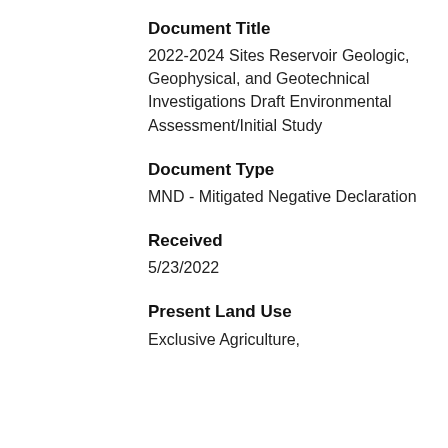Document Title
2022-2024 Sites Reservoir Geologic, Geophysical, and Geotechnical Investigations Draft Environmental Assessment/Initial Study
Document Type
MND - Mitigated Negative Declaration
Received
5/23/2022
Present Land Use
Exclusive Agriculture,